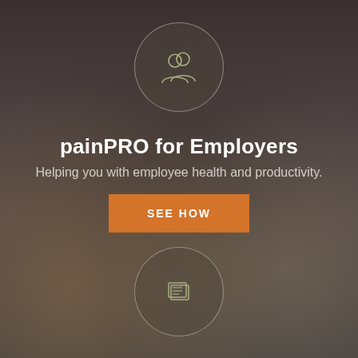[Figure (illustration): Circle icon with persons/employer silhouette outline in olive-green color on dark background]
painPRO for Employers
Helping you with employee health and productivity.
SEE HOW
[Figure (illustration): Circle icon with document/pages icon outline in olive-green color on dark background]
We're Hiring
Join our team and help us improve lives